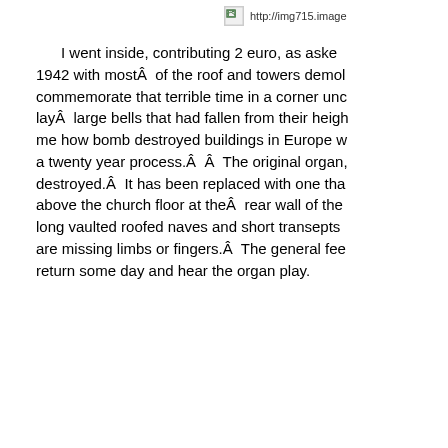[Figure (other): Broken image placeholder with URL http://img715.image]
I went inside, contributing 2 euro, as asked 1942 with mostÂ  of the roof and towers demol commemorate that terrible time in a corner unc layÂ  large bells that had fallen from their heigh me how bomb destroyed buildings in Europe w a twenty year process.Â  Â  The original organ, destroyed.Â  It has been replaced with one tha above the church floor at theÂ  rear wall of the long vaulted roofed naves and short transepts are missing limbs or fingers.Â  The general fee return some day and hear the organ play.